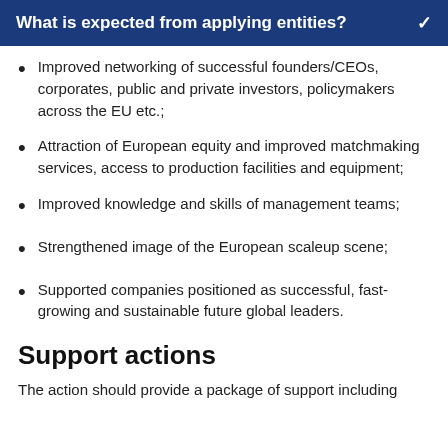What is expected from applying entities?
Improved networking of successful founders/CEOs, corporates, public and private investors, policymakers across the EU etc.;
Attraction of European equity and improved matchmaking services, access to production facilities and equipment;
Improved knowledge and skills of management teams;
Strengthened image of the European scaleup scene;
Supported companies positioned as successful, fast-growing and sustainable future global leaders.
Support actions
The action should provide a package of support including